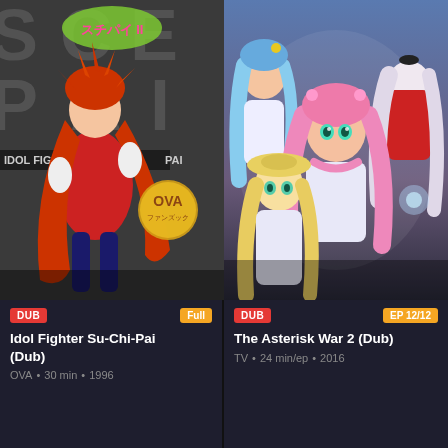[Figure (illustration): Left anime card thumbnail: Idol Fighter Su-Chi-Pai (Dub) — cover art showing a red-haired anime girl in red outfit with Japanese text and OVA badge, dark grey background]
DUB | Full
Idol Fighter Su-Chi-Pai (Dub)
OVA • 30 min • 1996
[Figure (illustration): Right anime card thumbnail: The Asterisk War 2 (Dub) — cover art showing three anime girls with pink, blue, and white/silver hair in white and red outfits]
DUB | EP 12/12
The Asterisk War 2 (Dub)
TV • 24 min/ep • 2016